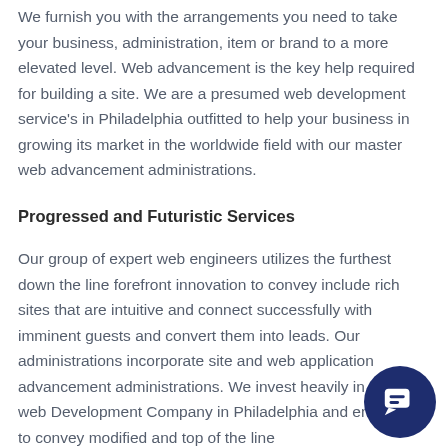We furnish you with the arrangements you need to take your business, administration, item or brand to a more elevated level. Web advancement is the key help required for building a site. We are a presumed web development service's in Philadelphia outfitted to help your business in growing its market in the worldwide field with our master web advancement administrations.
Progressed and Futuristic Services
Our group of expert web engineers utilizes the furthest down the line forefront innovation to convey include rich sites that are intuitive and connect successfully with imminent guests and convert them into leads. Our administrations incorporate site and web application advancement administrations. We invest heavily in first rate web Development Company in Philadelphia and endeavor to convey modified and top of the line